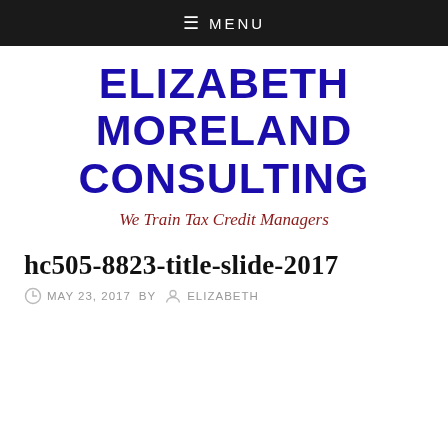≡ MENU
ELIZABETH MORELAND CONSULTING
We Train Tax Credit Managers
hc505-8823-title-slide-2017
MAY 23, 2017  BY  ELIZABETH